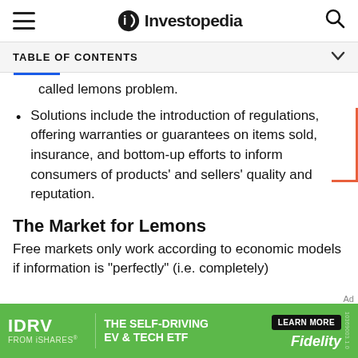Investopedia
TABLE OF CONTENTS
called lemons problem.
Solutions include the introduction of regulations, offering warranties or guarantees on items sold, insurance, and bottom-up efforts to inform consumers of products' and sellers' quality and reputation.
The Market for Lemons
Free markets only work according to economic models if information is "perfectly" (i.e. completely)
[Figure (screenshot): IDRV from iShares advertisement banner: The Self-Driving EV & Tech ETF, with Learn More button and Fidelity branding]